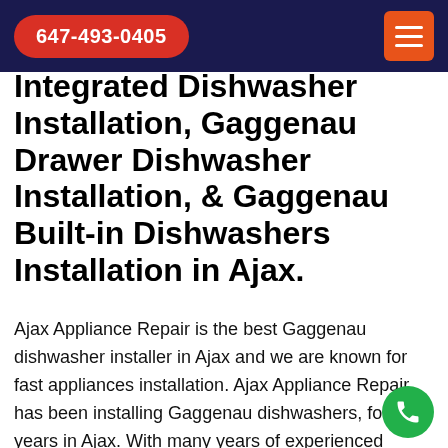647-493-0405
Integrated Dishwasher Installation, Gaggenau Drawer Dishwasher Installation, & Gaggenau Built-in Dishwashers Installation in Ajax.
Ajax Appliance Repair is the best Gaggenau dishwasher installer in Ajax and we are known for fast appliances installation. Ajax Appliance Repair has been installing Gaggenau dishwashers, for years in Ajax. With many years of experienced services in the field of Gaggenau Dishwasher Installation, we are trustworthy and